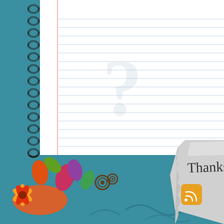[Figure (illustration): Decorative blog/website template image. Top half: a spiral-bound lined notebook on a teal/turquoise background. Bottom half: teal background with colorful floral/paisley decorative illustration (orange, red, green, purple flowers and swirls) on the left, and a torn crumpled paper note on the right with handwritten text 'Thanks for Visi' (partially cropped). An orange RSS feed icon badge is visible near the center-bottom area.]